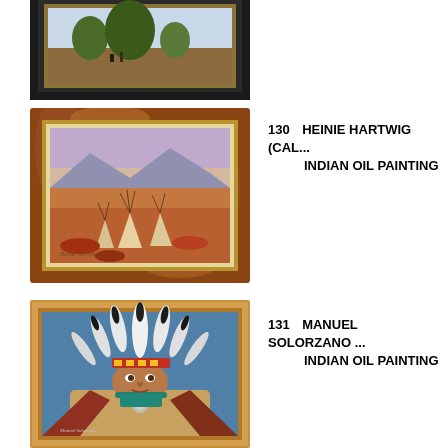[Figure (photo): Partial view of a framed painting (lot 129) with dark frame, bottom portion visible showing a landscape or nature scene]
[Figure (photo): Framed oil painting by Heinie Hartwig in a burled wood frame showing an Indian encampment with teepees in a plains landscape, lot 130]
130   HEINIE HARTWIG (CAL...
INDIAN OIL PAINTING
[Figure (photo): Framed oil painting by Manuel Solorzano showing a Native American chief in full feathered headdress, lot 131]
131   MANUEL SOLORZANO ...
INDIAN OIL PAINTING